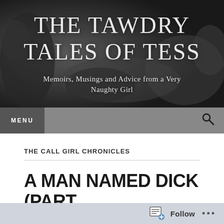[Figure (photo): Black and white header photo of a person lying down, used as website banner background]
THE TAWDRY TALES OF TESS
Memoirs, Musings and Advice from a Very Naughty Girl
MENU
THE CALL GIRL CHRONICLES
A MAN NAMED DICK (PART
Follow